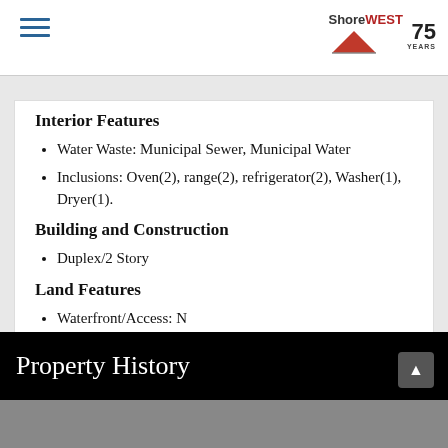ShoreWEST 75 YEARS
Interior Features
Water Waste: Municipal Sewer, Municipal Water
Inclusions: Oven(2), range(2), refrigerator(2), Washer(1), Dryer(1).
Building and Construction
Duplex/2 Story
Land Features
Waterfront/Access: N
Property History